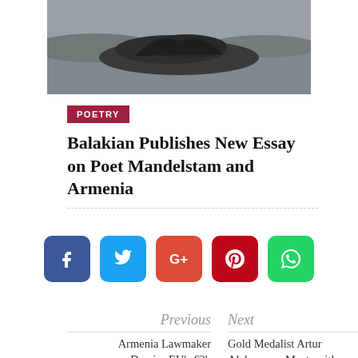[Figure (photo): Black and white photograph of a rocky island or landmass in water, viewed from a distance, with mountains or hills in the background]
POETRY
Balakian Publishes New Essay on Poet Mandelstam and Armenia
[Figure (infographic): Social sharing buttons: Facebook (blue), Twitter (light blue), Google+ (orange-red), Pinterest (red), WhatsApp (green)]
Previous
Armenia Lawmaker Decries EU's €2b
Next
Gold Medalist Artur Aleksanyan Meets with